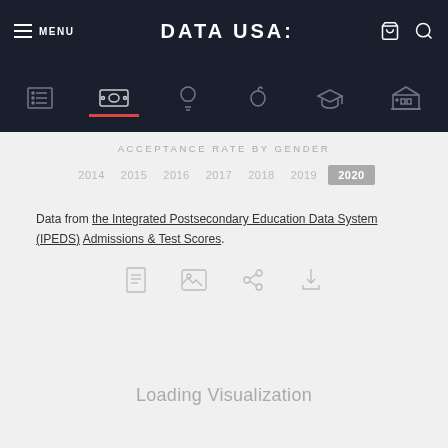MENU | DATA USA: | [cart] [search]
[Figure (screenshot): Navigation icon row with icons for list, currency/financials (active), lightbulb, apple, graduation cap, and building/institution]
ACCEPTANCE RATE BY GENDER
2014  2015  2016  2017  2018  2019  2020 (active)
Data from the Integrated Postsecondary Education Data System (IPEDS) Admissions & Test Scores.
[Figure (screenshot): Action icon row with document, image, share, and cart/download icons]
Loading Visualization